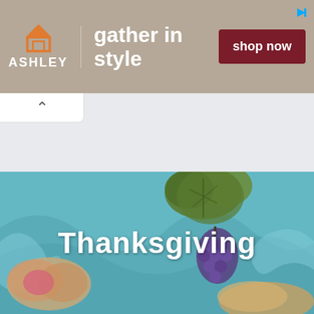[Figure (screenshot): Ashley Furniture advertisement banner with orange house logo, 'gather in style' tagline, and dark red 'shop now' button on a taupe/brown background.]
[Figure (photo): Close-up photo of a decorative ceramic or painted plate/platter with a turquoise/teal blue background featuring grape clusters and leaf motifs in greens and purples. Text overlay reads 'Thanksgiving'.]